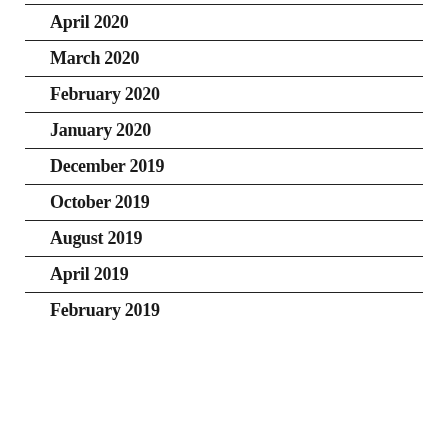April 2020
March 2020
February 2020
January 2020
December 2019
October 2019
August 2019
April 2019
February 2019